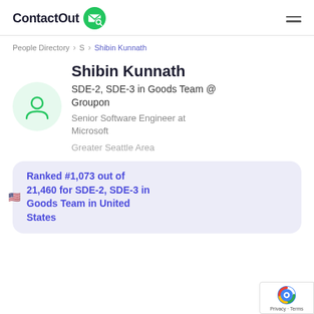ContactOut
People Directory > S > Shibin Kunnath
Shibin Kunnath
SDE-2, SDE-3 in Goods Team @ Groupon
Senior Software Engineer at Microsoft
Greater Seattle Area
Ranked #1,073 out of 21,460 for SDE-2, SDE-3 in Goods Team in United States